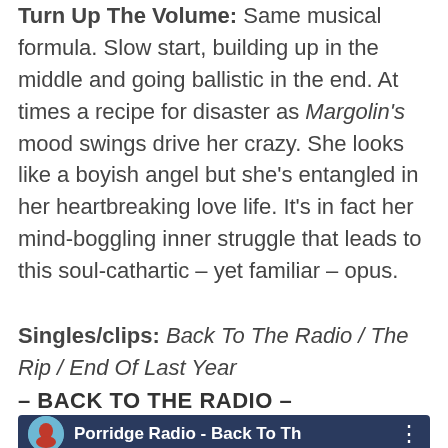Turn Up The Volume: Same musical formula. Slow start, building up in the middle and going ballistic in the end. At times a recipe for disaster as Margolin's mood swings drive her crazy. She looks like a boyish angel but she's entangled in her heartbreaking love life. It's in fact her mind-boggling inner struggle that leads to this soul-cathartic – yet familiar – opus.
Singles/clips: Back To The Radio / The Rip / End Of Last Year
– BACK TO THE RADIO –
[Figure (screenshot): Music player embed showing Porridge Radio - Back To Th... with a circular avatar of a person in red]